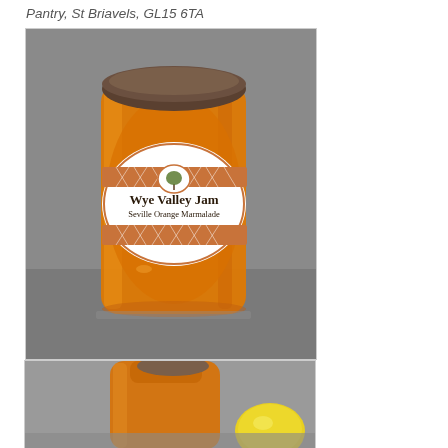Pantry, St Briavels, GL15 6TA
[Figure (photo): A glass jar of Wye Valley Jam Seville Orange Marmalade with an orange and white label featuring a tree logo and decorative pattern, sitting on a surface.]
[Figure (photo): Partial view of another glass jar of jam/marmalade with a yellow/lemon fruit visible beside it, cropped at the bottom of the page.]